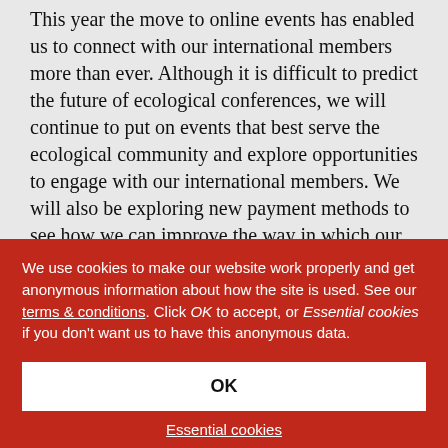please do keep an eye out. This year the move to online events has enabled us to connect with our international members more than ever. Although it is difficult to predict the future of ecological conferences, we will continue to put on events that best serve the ecological community and explore opportunities to engage with our international members. We will also be exploring new payment methods to see how we can improve the way in which our members pay for their membership and other services.
Finally, we have taken on board your feedback and will also
We use cookies to make our website work properly and get anonymous information about how the site is used. See our terms & conditions. Click OK to accept, or Essential cookies if you don't want us to have this anonymous data.
OK
Essential cookies